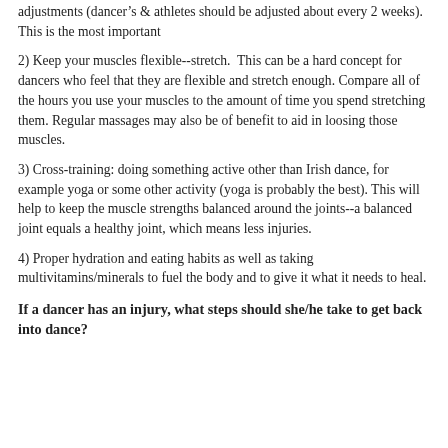adjustments (dancer’s & athletes should be adjusted about every 2 weeks). This is the most important
2) Keep your muscles flexible--stretch. This can be a hard concept for dancers who feel that they are flexible and stretch enough. Compare all of the hours you use your muscles to the amount of time you spend stretching them. Regular massages may also be of benefit to aid in loosing those muscles.
3) Cross-training: doing something active other than Irish dance, for example yoga or some other activity (yoga is probably the best). This will help to keep the muscle strengths balanced around the joints--a balanced joint equals a healthy joint, which means less injuries.
4) Proper hydration and eating habits as well as taking multivitamins/minerals to fuel the body and to give it what it needs to heal.
If a dancer has an injury, what steps should she/he take to get back into dance?